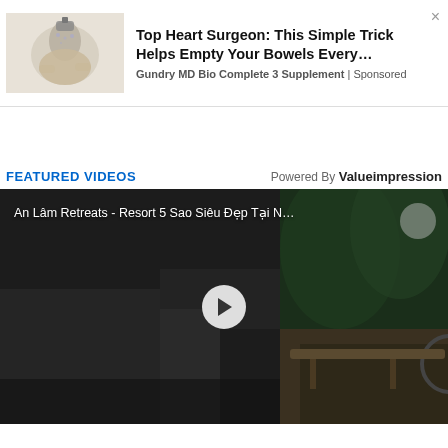[Figure (illustration): Ad banner showing hand illustration with water/liquid dropping from it, promoting a heart surgeon supplement.]
Top Heart Surgeon: This Simple Trick Helps Empty Your Bowels Every…
Gundry MD Bio Complete 3 Supplement | Sponsored
FEATURED VIDEOS
Powered By Valueimpression
[Figure (screenshot): Video thumbnail of 'An Lâm Retreats - Resort 5 Sao Siêu Đẹp Tại N…' showing a person on a bicycle at a resort pathway at night, with a play button overlay.]